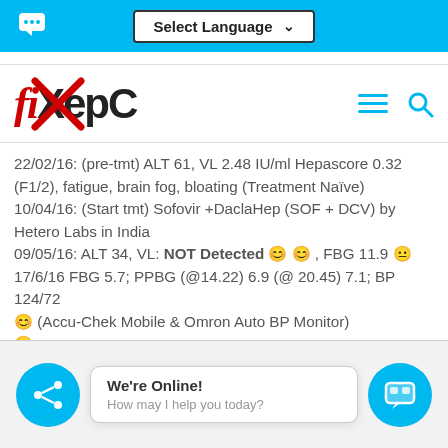Select Language (dropdown)
[Figure (logo): fixHepC logo with red stylized text and X mark]
22/02/16: (pre-tmt) ALT 61, VL 2.48 IU/ml Hepascore 0.32 (F1/2), fatigue, brain fog, bloating (Treatment Naïve)
10/04/16: (Start tmt) Sofovir +DaclaHep (SOF + DCV) by Hetero Labs in India
09/05/16: ALT 34, VL: NOT Detected 😊 😊 , FBG 11.9 😐
17/6/16 FBG 5.7; PPBG (@14.22) 6.9 (@ 20.45) 7.1; BP 124/72
😊 (Accu-Chek Mobile & Omron Auto BP Monitor)
😊
We're Online! How may I help you today?